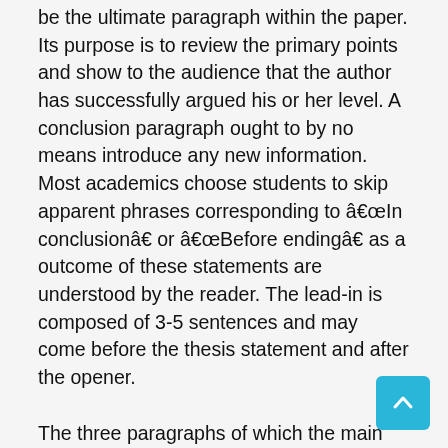be the ultimate paragraph within the paper. Its purpose is to review the primary points and show to the audience that the author has successfully argued his or her level. A conclusion paragraph ought to by no means introduce any new information. Most academics choose students to skip apparent phrases corresponding to âIn conclusionâ or âBefore endingâ as a outcome of these statements are understood by the reader. The lead-in is composed of 3-5 sentences and may come before the thesis statement and after the opener.
The three paragraphs of which the main physique of your textual content should consist, are all supposed to be just like each other. Itâs straightforward because itâs already acknowledged within the name itself â the essay ought to have five paragraphs. The construction is simultaneously the best and trickiest part of this essay format. While a five-paragraph essay forces an organizational paradigm onto your paper, the schemes